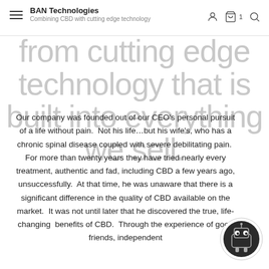BAN Technologies — Combining CBD with cutting edge technology
from cutting edge technology that is built into everything we sell.
Our company was founded out of our CEO's personal pursuit of a life without pain. Not his life…but his wife's, who has a chronic spinal disease coupled with severe debilitating pain. For more than twenty years they have tried nearly every treatment, authentic and fad, including CBD a few years ago, unsuccessfully. At that time, he was unaware that there is a significant difference in the quality of CBD available on the market. It was not until later that he discovered the true, life-changing benefits of CBD. Through the experience of good friends, independent
[Figure (illustration): Chatbot robot icon — circular icon with a small robot face with two dot eyes on a dark background]